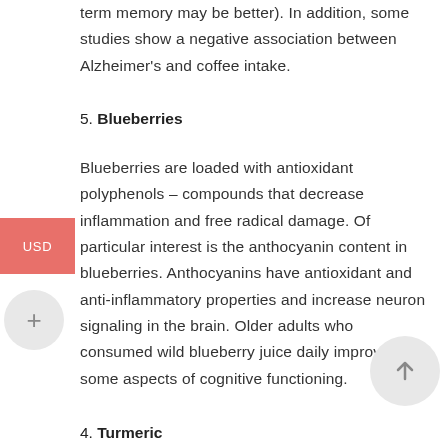term memory may be better). In addition, some studies show a negative association between Alzheimer's and coffee intake.
5. Blueberries
Blueberries are loaded with antioxidant polyphenols – compounds that decrease inflammation and free radical damage. Of particular interest is the anthocyanin content in blueberries. Anthocyanins have antioxidant and anti-inflammatory properties and increase neuron signaling in the brain. Older adults who consumed wild blueberry juice daily improved some aspects of cognitive functioning.
4. Turmeric